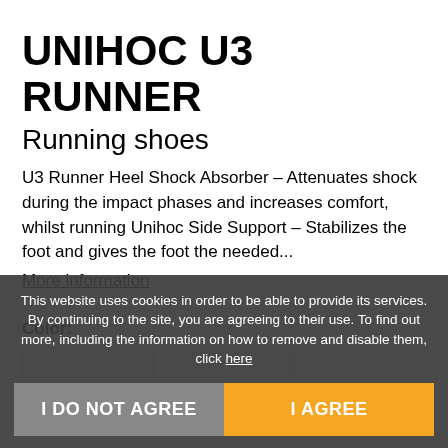UNIHOC U3 RUNNER
Running shoes
U3 Runner Heel Shock Absorber - Attenuates shock during the impact phases and increases comfort, whilst running Unihoc Side Support - Stabilizes the foot and gives the foot the needed...
More information
Color:
UK size:
This website uses cookies in order to be able to provide its services. By continuing to the site, you are agreeing to their use. To find out more, including the information on how to remove and disable them, click here
I DO NOT AGREE
I AGREE